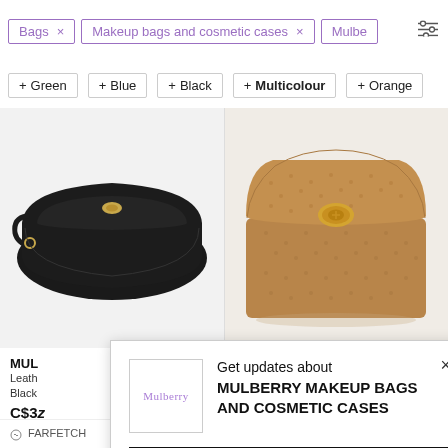Bags × | Makeup bags and cosmetic cases × | Mulber
+ Green  + Blue  + Black  + Multicolour  + Orange
[Figure (photo): Black leather clutch/makeup bag with gold turn-lock clasp and wrist strap, on white background]
[Figure (photo): Tan/caramel grained leather Mulberry cosmetic case with gold postman's lock clasp, on white background]
MUL
Leath
Black
C$3z
Get updates about MULBERRY MAKEUP BAGS AND COSMETIC CASES
Follow
FARFETCH     C$622 Sold out